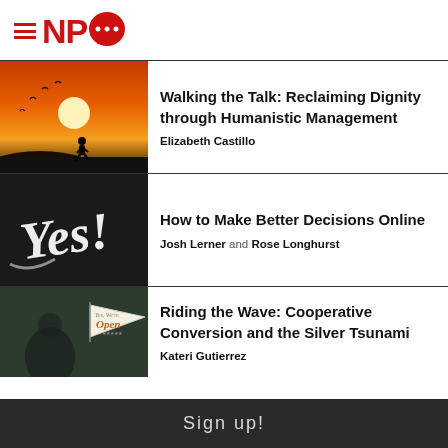NPQ
[Figure (photo): Silhouette of a person walking against a fiery orange sunset sky with birds]
Walking the Talk: Reclaiming Dignity through Humanistic Management
Elizabeth Castillo
[Figure (photo): Dark background with white cursive graffiti text reading 'Yes!']
How to Make Better Decisions Online
Josh Lerner and Rose Longhurst
[Figure (photo): Dark scene with a person and a pennant-shaped sign reading 'Yes, We're Open' with stars]
Riding the Wave: Cooperative Conversion and the Silver Tsunami
Kateri Gutierrez
Sign up!